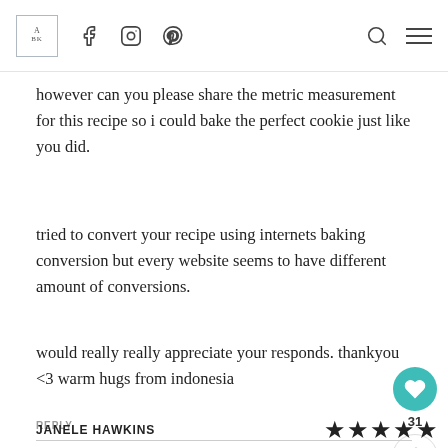A BK | Facebook | Instagram | Pinterest | Search | Menu
however can you please share the metric measurement for this recipe so i could bake the perfect cookie just like you did.
tried to convert your recipe using internets baking conversion but every website seems to have different amount of conversions.
would really really appreciate your responds. thankyou <3 warm hugs from indonesia
REPLY
JANELE HAWKINS
[Figure (other): Five black star rating icons]